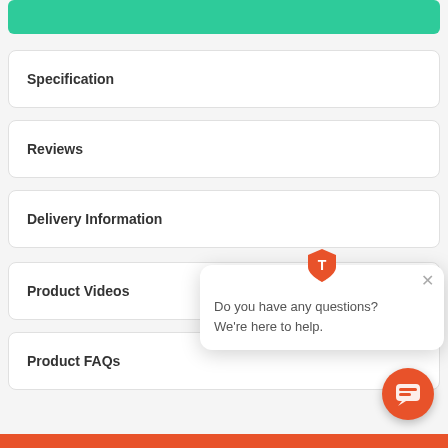[Figure (screenshot): Green 'Add to basket' button (partially visible at top)]
Specification
Reviews
Delivery Information
Product Videos
Product FAQs
[Figure (infographic): Chat popup with orange shield logo, close button, and text 'Do you have any questions? We're here to help.' and orange chat bubble button at bottom right.]